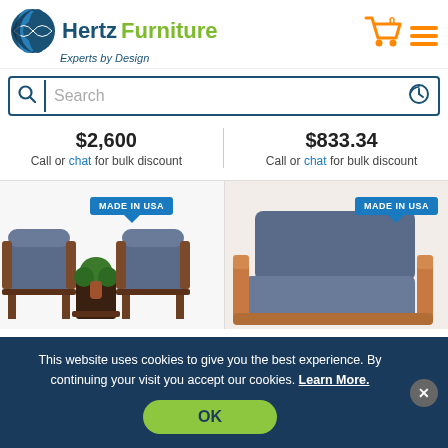[Figure (logo): Hertz Furniture logo with globe icon, blue 'Hertz' text, green 'Furniture' text, and tagline 'Experts by Design']
[Figure (illustration): Shopping cart icon with orange badge showing '0', and orange hamburger menu icon]
Search
$2,600
Call or chat for bulk discount
$833.34
Call or chat for bulk discount
[Figure (photo): Two blue upholstered chairs with dark wood frame and a small plant table in between, with 'MADE IN USA' tag]
[Figure (photo): Blue upholstered lounge chair with light wood frame, with 'MADE IN USA' tag]
This website uses cookies to give you the best experience. By continuing your visit you accept our cookies. Learn More.
OK